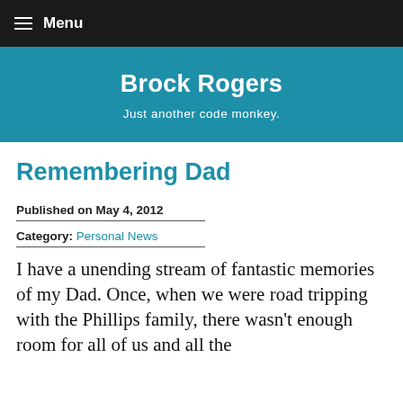≡ Menu
Brock Rogers
Just another code monkey.
Remembering Dad
Published on May 4, 2012
Category: Personal News
I have a unending stream of fantastic memories of my Dad. Once, when we were road tripping with the Phillips family, there wasn't enough room for all of us and all the